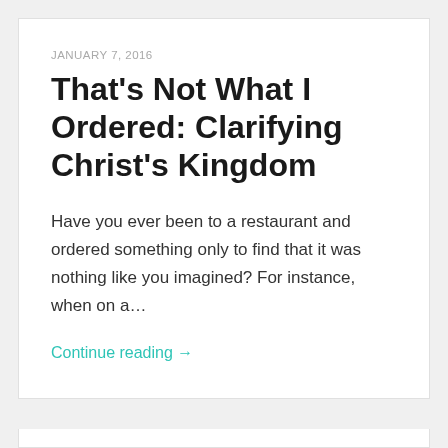JANUARY 7, 2016
That's Not What I Ordered: Clarifying Christ's Kingdom
Have you ever been to a restaurant and ordered something only to find that it was nothing like you imagined? For instance, when on a…
Continue reading →